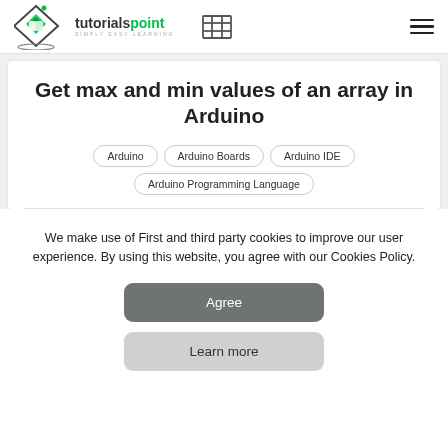tutorialspoint SIMPLY EASY LEARNING
Get max and min values of an array in Arduino
Arduino
Arduino Boards
Arduino IDE
Arduino Programming Language
We make use of First and third party cookies to improve our user experience. By using this website, you agree with our Cookies Policy.
Agree
Learn more